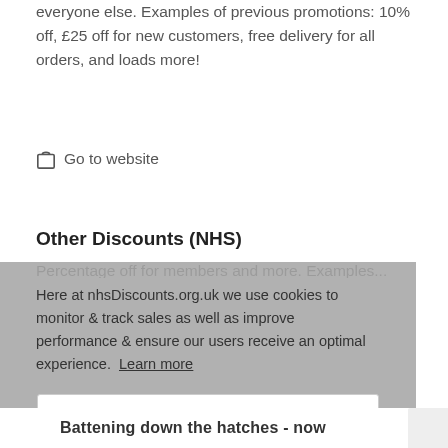everyone else. Examples of previous promotions: 10% off, £25 off for new customers, free delivery for all orders, and loads more!
Go to website
Other Discounts (NHS)
Here at nhsDiscounts.org.uk we use cookies to monitor & track sales as well as improve performance & ensure our users receive an optimal experience. Learn more
GOT IT!
Battening down the hatches - now